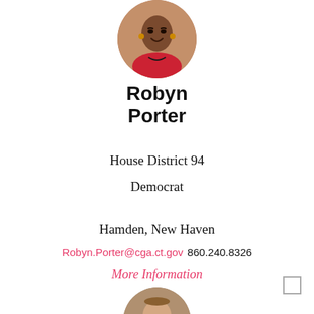[Figure (photo): Circular portrait photo of Robyn Porter, a woman smiling, wearing a red top with a patterned neckline]
Robyn Porter
House District 94
Democrat
Hamden, New Haven
Robyn.Porter@cga.ct.gov  860.240.8326
More Information
[Figure (photo): Circular portrait photo of a man with glasses and short brown hair, partially visible at bottom of page]